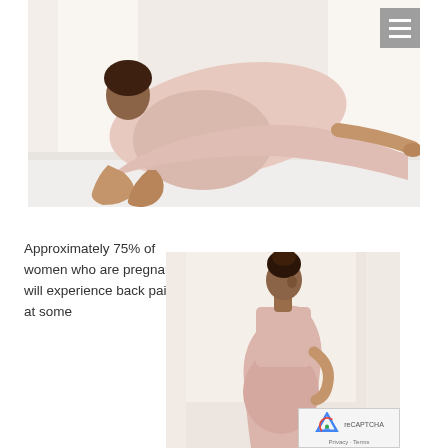[Figure (photo): A pregnant woman in a pink/blush dress doing a stretching exercise on a white bed, positioned on hands and knees with back arched, photographed from the side in a bright room with white curtains.]
[Figure (photo): A pregnant woman in a blush/pink outfit standing in profile with her hand on her lower back, with natural light from a window behind her. She has curly hair in an updo.]
Approximately 75% of women who are pregnant will experience back pain at some